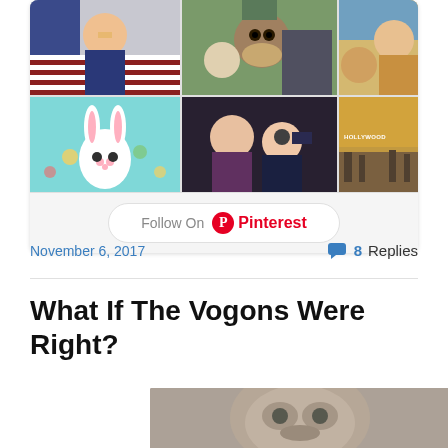[Figure (screenshot): Pinterest widget showing a grid of 6 photos: Trump with flag, person with groundhog, people at office, Easter bunny graphic, Harry Potter characters, Hollywood sign. Below the grid is a 'Follow On Pinterest' button.]
November 6, 2017
8 Replies
What If The Vogons Were Right?
[Figure (photo): Photo of a Vogon creature (alien from Hitchhiker's Guide to the Galaxy) looking downward, partially visible at bottom of page.]